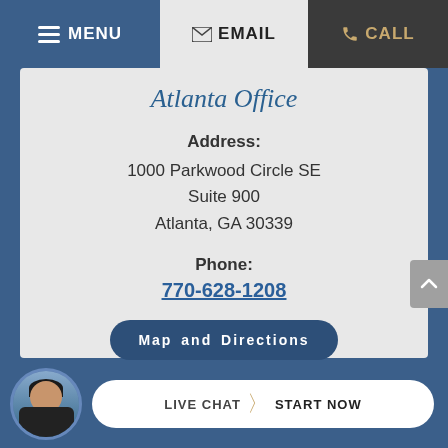MENU | EMAIL | CALL
Atlanta Office
Address:
1000 Parkwood Circle SE
Suite 900
Atlanta, GA 30339
Phone:
770-628-1208
Map and Directions
LIVE CHAT | START NOW